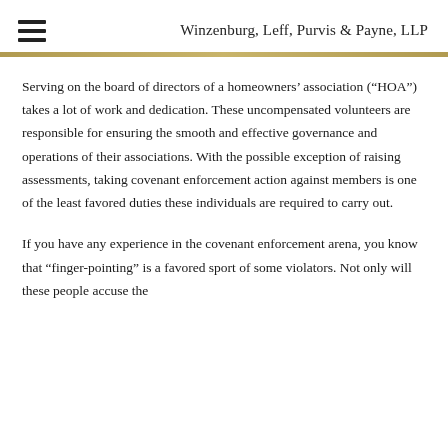Winzenburg, Leff, Purvis & Payne, LLP
Serving on the board of directors of a homeowners' association (“HOA”) takes a lot of work and dedication. These uncompensated volunteers are responsible for ensuring the smooth and effective governance and operations of their associations. With the possible exception of raising assessments, taking covenant enforcement action against members is one of the least favored duties these individuals are required to carry out.
If you have any experience in the covenant enforcement arena, you know that “finger-pointing” is a favored sport of some violators. Not only will these people accuse the